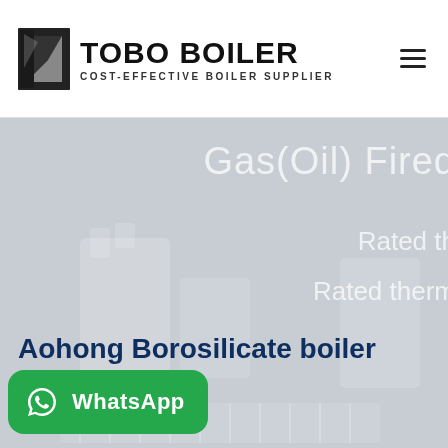[Figure (logo): TOBO BOILER logo with icon and tagline COST-EFFECTIVE BOILER SUPPLIER]
[Figure (photo): Hero section showing industrial boiler equipment with overlaid text: Gas(Oil) Fired, Rated th..., Rated therm..., and Aohong Borosilicate boiler title, plus a WhatsApp contact button]